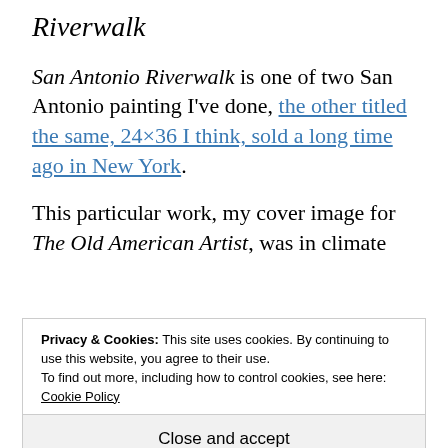Riverwalk
San Antonio Riverwalk is one of two San Antonio painting I've done, the other titled the same, 24×36 I think, sold a long time ago in New York.
This particular work, my cover image for The Old American Artist, was in climate
Privacy & Cookies: This site uses cookies. By continuing to use this website, you agree to their use.
To find out more, including how to control cookies, see here: Cookie Policy
Close and accept
years, took it out last summer, gave it a